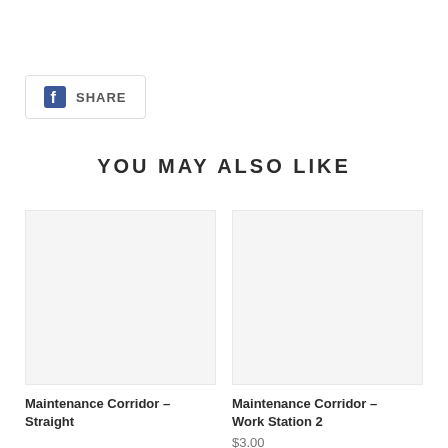[Figure (logo): Facebook Share button with Facebook icon and SHARE text, inside a rounded rectangle border]
YOU MAY ALSO LIKE
[Figure (photo): Product image placeholder for Maintenance Corridor - Straight, light gray background]
Maintenance Corridor – Straight
[Figure (photo): Product image placeholder for Maintenance Corridor - Work Station 2, light gray background]
Maintenance Corridor – Work Station 2
$3.00